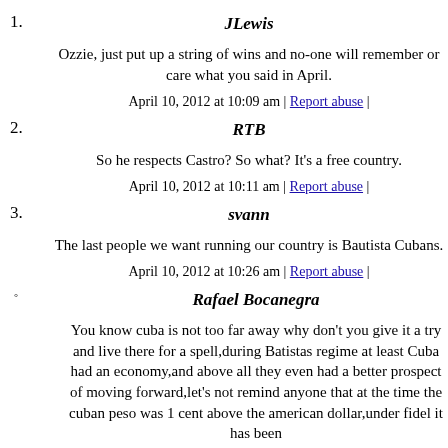1. JLewis
Ozzie, just put up a string of wins and no-one will remember or care what you said in April.
April 10, 2012 at 10:09 am | Report abuse |
2. RTB
So he respects Castro? So what? It's a free country.
April 10, 2012 at 10:11 am | Report abuse |
3. svann
The last people we want running our country is Bautista Cubans.
April 10, 2012 at 10:26 am | Report abuse |
○ Rafael Bocanegra
You know cuba is not too far away why don't you give it a try and live there for a spell,during Batistas regime at least Cuba had an economy,and above all they even had a better prospect of moving forward,let's not remind anyone that at the time the cuban peso was 1 cent above the american dollar,under fidel it has been